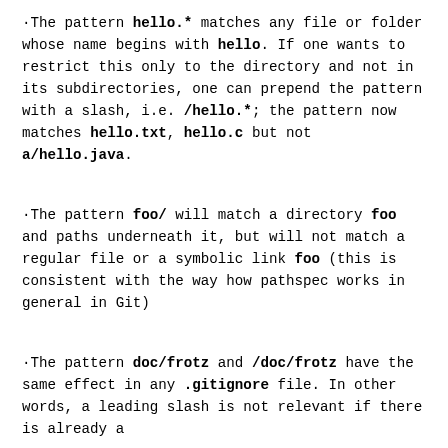·The pattern hello.* matches any file or folder whose name begins with hello. If one wants to restrict this only to the directory and not in its subdirectories, one can prepend the pattern with a slash, i.e. /hello.*; the pattern now matches hello.txt, hello.c but not a/hello.java.
·The pattern foo/ will match a directory foo and paths underneath it, but will not match a regular file or a symbolic link foo (this is consistent with the way how pathspec works in general in Git)
·The pattern doc/frotz and /doc/frotz have the same effect in any .gitignore file. In other words, a leading slash is not relevant if there is already a